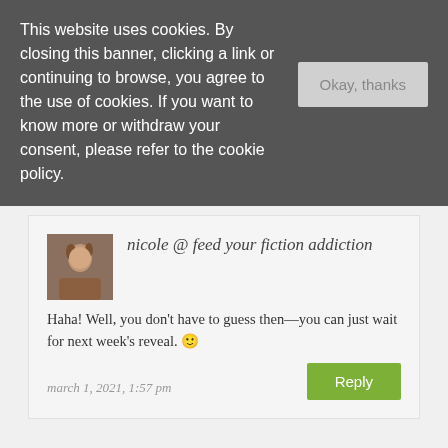This website uses cookies. By closing this banner, clicking a link or continuing to browse, you agree to the use of cookies. If you want to know more or withdraw your consent, please refer to the cookie policy.
Okay, thanks
nicole @ feed your fiction addiction
Haha! Well, you don't have to guess then—you can just wait for next week's reveal. 🙂
march 1, 2021, 1:57 pm
Reply
aj @ read all the things!
Good luck to your daughter! I thought about going back to school for Environmental Science,